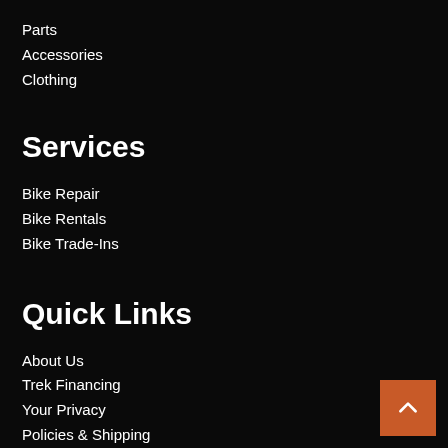Parts
Accessories
Clothing
Services
Bike Repair
Bike Rentals
Bike Trade-Ins
Quick Links
About Us
Trek Financing
Your Privacy
Policies & Shipping
Accessibility Statement